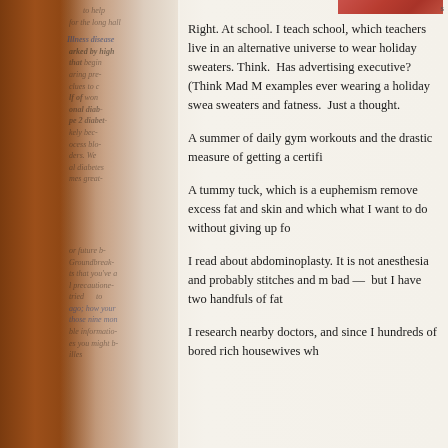[Figure (photo): Partial photo strip visible at top of right page, showing reddish/brown tones]
Right. At school. I teach school, which teachers live in an alternative universe to wear holiday sweaters. Think. Has advertising executive? (Think Mad M examples ever wearing a holiday swea sweaters and fatness. Just a thought.
A summer of daily gym workouts and the drastic measure of getting a certifi
A tummy tuck, which is a euphemism remove excess fat and skin and which what I want to do without giving up fo
I read about abdominoplasty. It is not anesthesia and probably stitches and m bad — but I have two handfuls of fat
I research nearby doctors, and since I hundreds of bored rich housewives wh